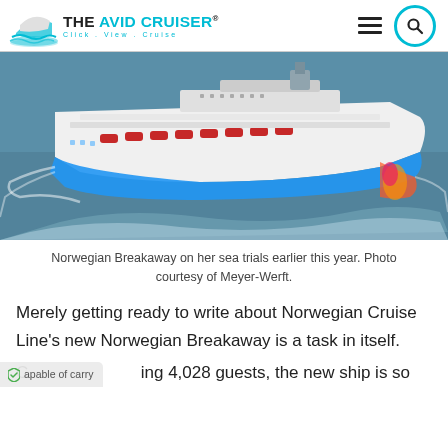THE AVID CRUISER® Click. View. Cruise.
[Figure (photo): Aerial photograph of Norwegian Breakaway cruise ship sailing on the sea during sea trials, viewed from above at an angle. The ship features colorful hull artwork and red lifeboats along its sides.]
Norwegian Breakaway on her sea trials earlier this year. Photo courtesy of Meyer-Werft.
Merely getting ready to write about Norwegian Cruise Line's new Norwegian Breakaway is a task in itself.
Capable of carrying 4,028 guests, the new ship is so